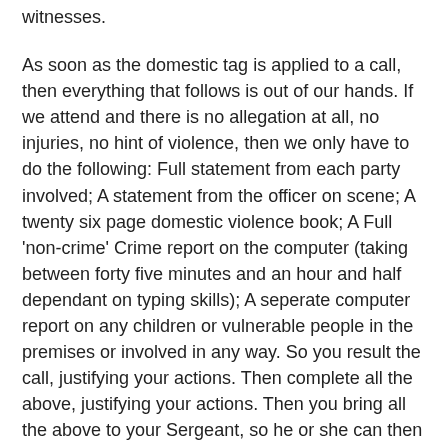witnesses.
As soon as the domestic tag is applied to a call, then everything that follows is out of our hands. If we attend and there is no allegation at all, no injuries, no hint of violence, then we only have to do the following: Full statement from each party involved; A statement from the officer on scene; A twenty six page domestic violence book; A Full 'non-crime' Crime report on the computer (taking between forty five minutes and an hour and half dependant on typing skills); A seperate computer report on any children or vulnerable people in the premises or involved in any way. So you result the call, justifying your actions. Then complete all the above, justifying your actions. Then you bring all the above to your Sergeant, so he or she can then justify your actions.
Keep in mind that these are for NON crimes. When there has been a crime or an allegation made, then obviously you arrest and all the above is used as evidence.
Amongst the many, many calls I have been to needing all the above for a non-crime domestic are a psychic wife who had